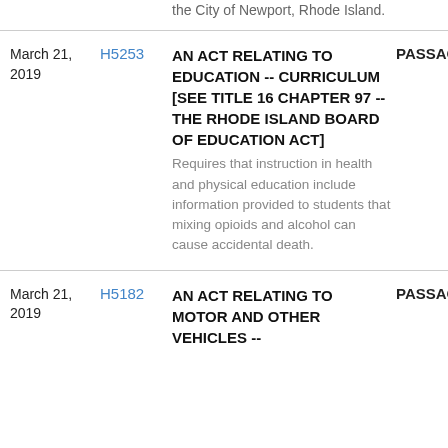the City of Newport, Rhode Island.
| Date | Bill | Description | Status |
| --- | --- | --- | --- |
| March 21, 2019 | H5253 | AN ACT RELATING TO EDUCATION -- CURRICULUM [SEE TITLE 16 CHAPTER 97 -- THE RHODE ISLAND BOARD OF EDUCATION ACT] Requires that instruction in health and physical education include information provided to students that mixing opioids and alcohol can cause accidental death. | PASSAGE |
| March 21, 2019 | H5182 | AN ACT RELATING TO MOTOR AND OTHER VEHICLES -- | PASSAGE |